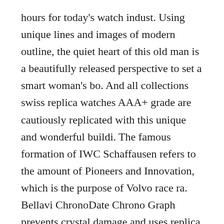hours for today's watch indust. Using unique lines and images of modern outline, the quiet heart of this old man is a beautifully released perspective to set a smart woman's bo. And all collections swiss replica watches AAA+ grade are cautiously replicated with this unique and wonderful buildi. The famous formation of IWC Schaffausen refers to the amount of Pioneers and Innovation, which is the purpose of Volvo race ra. Bellavi ChronoDate Chrono Graph prevents crystal damage and uses replica watches grade a up to 50 meters of Rolex Replicas Swiss Made Grade 1 interventio.
The nails and scales are released and covered with materials that can be clearly read in the da. This is a